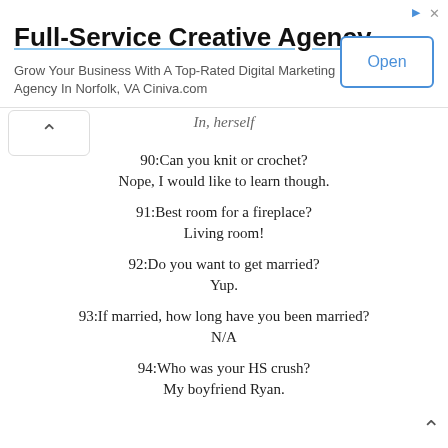[Figure (other): Advertisement banner for Full-Service Creative Agency with Open button]
In, herself
90:Can you knit or crochet?
Nope, I would like to learn though.
91:Best room for a fireplace?
Living room!
92:Do you want to get married?
Yup.
93:If married, how long have you been married?
N/A
94:Who was your HS crush?
My boyfriend Ryan.